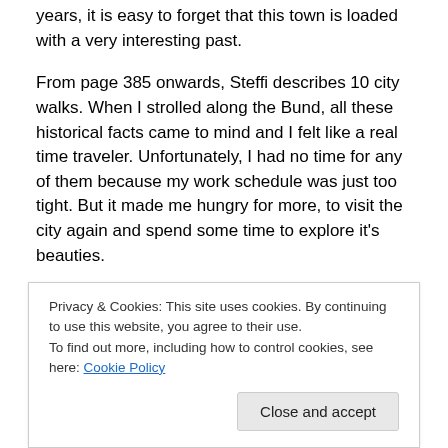years, it is easy to forget that this town is loaded with a very interesting past.
From page 385 onwards, Steffi describes 10 city walks. When I strolled along the Bund, all these historical facts came to mind and I felt like a real time traveler. Unfortunately, I had no time for any of them because my work schedule was just too tight. But it made me hungry for more, to visit the city again and spend some time to explore it's beauties.
It's easy to get this book. Just google the title and order it
Privacy & Cookies: This site uses cookies. By continuing to use this website, you agree to their use.
To find out more, including how to control cookies, see here: Cookie Policy
Close and accept
are maps guiding you through.